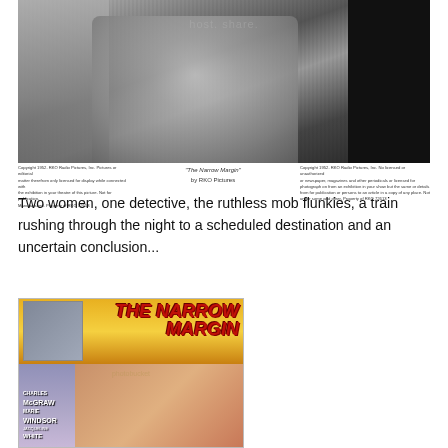[Figure (photo): Black and white film still from 'The Narrow Margin' showing two figures close together, one in a tweed coat]
"The Narrow Margin"
by RKO Pictures
Two women, one detective, the ruthless mob flunkies, a train rushing through the night to a scheduled destination and an uncertain conclusion...
[Figure (photo): Movie poster for 'The Narrow Margin' featuring the title in red lettering on yellow background, with actors Charles McGraw, Marie Windsor, and Jacqueline White listed in credits]